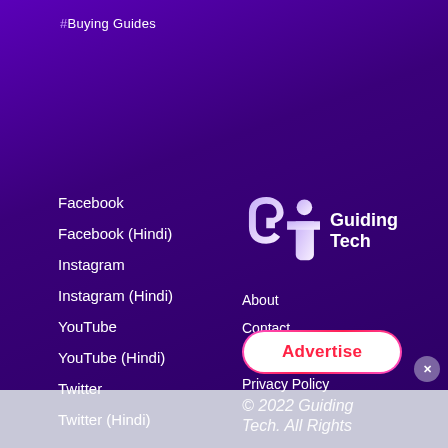#Buying Guides
Facebook
Facebook (Hindi)
Instagram
Instagram (Hindi)
YouTube
YouTube (Hindi)
Twitter
Twitter (Hindi)
[Figure (logo): Guiding Tech logo - stylized GT letters in purple/lavender gradient]
Guiding Tech
About
Contact
Terms of Use
Privacy Policy
Advertise
© 2022 Guiding Tech. All Rights